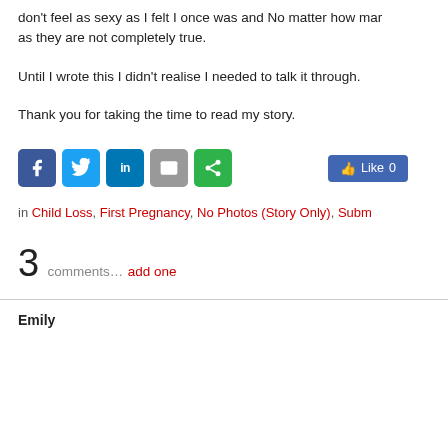don't feel as sexy as I felt I once was and No matter how many... as they are not completely true.
Until I wrote this I didn't realise I needed to talk it through.
Thank you for taking the time to read my story.
[Figure (infographic): Social sharing buttons: Facebook (blue), Twitter (light blue), LinkedIn (blue), Email (grey), Share (green), and a Facebook Like button showing 0 likes.]
in Child Loss, First Pregnancy, No Photos (Story Only), Subm...
3 comments… add one
Emily